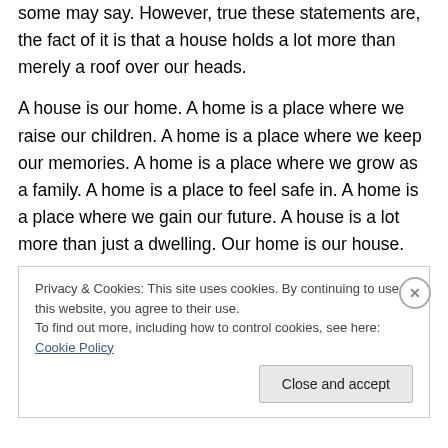some may say. However, true these statements are, the fact of it is that a house holds a lot more than merely a roof over our heads.
A house is our home. A home is a place where we raise our children. A home is a place where we keep our memories. A home is a place where we grow as a family. A home is a place to feel safe in. A home is a place where we gain our future. A house is a lot more than just a dwelling. Our home is our house.
If you are losing your home, do not give up. Write letters to
Privacy & Cookies: This site uses cookies. By continuing to use this website, you agree to their use.
To find out more, including how to control cookies, see here: Cookie Policy
Close and accept